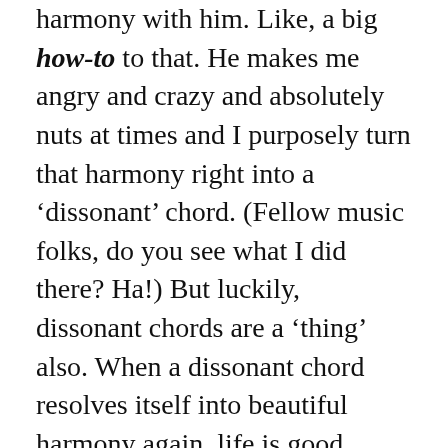harmony with him. Like, a big how-to to that. He makes me angry and crazy and absolutely nuts at times and I purposely turn that harmony right into a ‘dissonant’ chord. (Fellow music folks, do you see what I did there? Ha!) But luckily, dissonant chords are a ‘thing’ also. When a dissonant chord resolves itself into beautiful harmony again, life is good, right? That means kissing, folks. And kissing is good, right? Ha!
Moving right along. As a mother, I must be the harmony to my children’s ambitions in life. They have so many